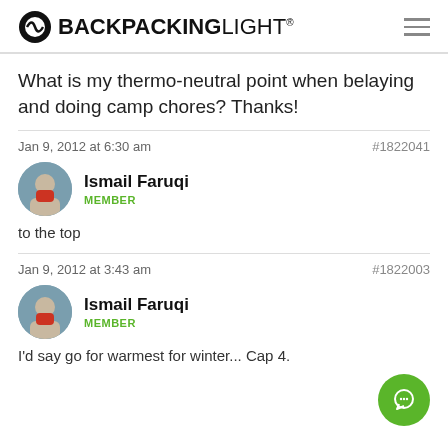BACKPACKINGLIGHT
What is my thermo-neutral point when belaying and doing camp chores? Thanks!
Jan 9, 2012 at 6:30 am   #1822041
Ismail Faruqi
MEMBER
to the top
Jan 9, 2012 at 3:43 am   #1822003
Ismail Faruqi
MEMBER
I'd say go for warmest for winter... Cap 4.